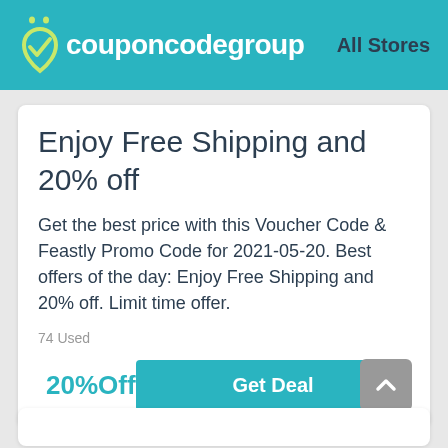couponcodegroup   All Stores
Enjoy Free Shipping and 20% off
Get the best price with this Voucher Code & Feastly Promo Code for 2021-05-20. Best offers of the day: Enjoy Free Shipping and 20% off. Limit time offer.
74 Used
20%Off
Get Deal